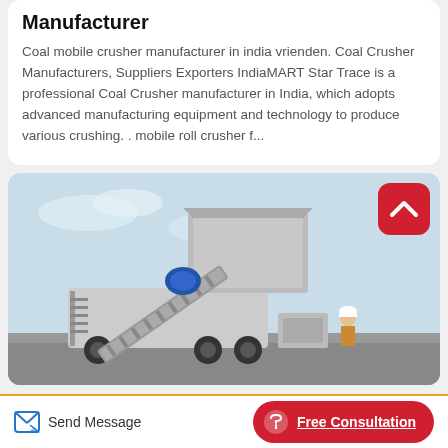Manufacturer
Coal mobile crusher manufacturer in india vrienden. Coal Crusher Manufacturers, Suppliers Exporters IndiaMART Star Trace is a professional Coal Crusher manufacturer in India, which adopts advanced manufacturing equipment and technology to produce various crushing. . mobile roll crusher f...
[Figure (photo): Industrial mobile coal crusher / crushing machine photographed outdoors, showing conveyor belt, hopper, and crusher unit mounted on a wheeled chassis. A worker in hard hat is visible. Sky background.]
Send Message   Free Consultation